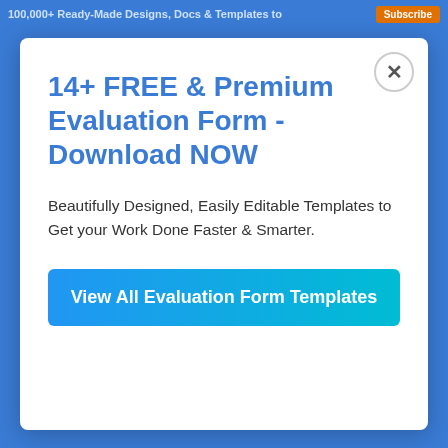100,000+ Ready-Made Designs, Docs & Templates to   Subscribe
14+ FREE & Premium Evaluation Form - Download NOW
Beautifully Designed, Easily Editable Templates to Get your Work Done Faster & Smarter.
View All Evaluation Form Templates